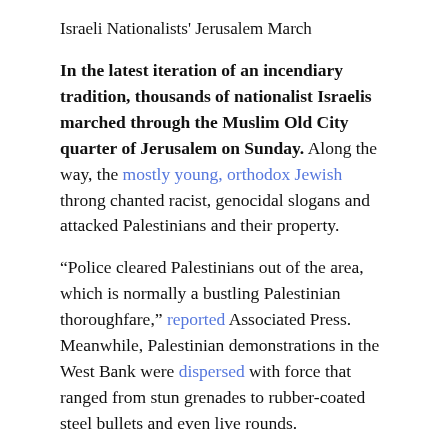Israeli Nationalists' Jerusalem March
In the latest iteration of an incendiary tradition, thousands of nationalist Israelis marched through the Muslim Old City quarter of Jerusalem on Sunday. Along the way, the mostly young, orthodox Jewish throng chanted racist, genocidal slogans and attacked Palestinians and their property.
“Police cleared Palestinians out of the area, which is normally a bustling Palestinian thoroughfare,” reported Associated Press. Meanwhile, Palestinian demonstrations in the West Bank were dispersed with force that ranged from stun grenades to rubber-coated steel bullets and even live rounds.
According to Middle East Eye: